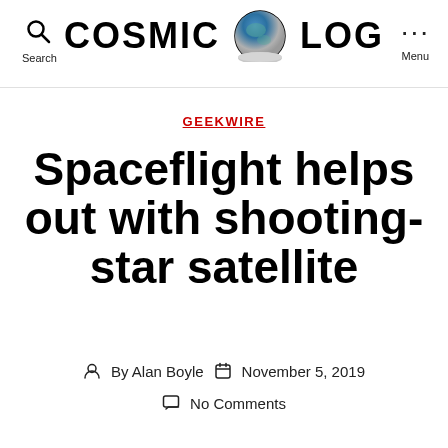COSMIC LOG
GEEKWIRE
Spaceflight helps out with shooting-star satellite
By Alan Boyle   November 5, 2019
No Comments